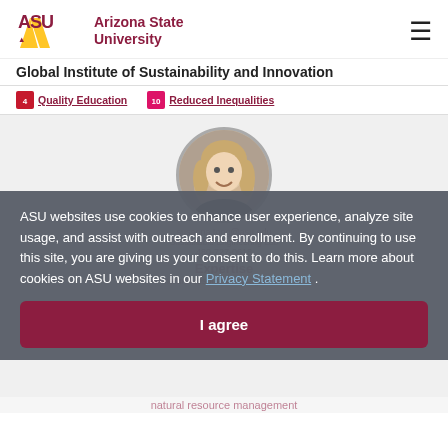Arizona State University — Global Institute of Sustainability and Innovation
Quality Education   Reduced Inequalities
[Figure (photo): Circular profile photo of a woman with blonde hair, smiling, wearing a dark top.]
ASU websites use cookies to enhance user experience, analyze site usage, and assist with outreach and enrollment. By continuing to use this site, you are giving us your consent to do this. Learn more about cookies on ASU websites in our Privacy Statement .
I agree
Expertise
natural resource management